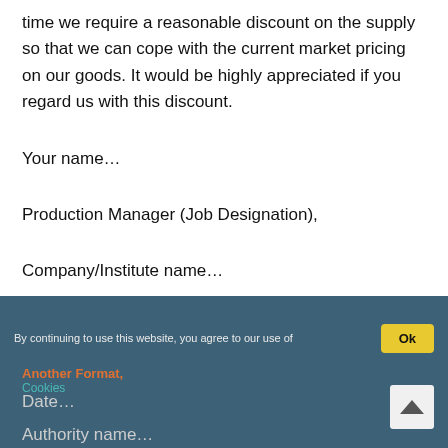time we require a reasonable discount on the supply so that we can cope with the current market pricing on our goods. It would be highly appreciated if you regard us with this discount.
Your name…
Production Manager (Job Designation),
Company/Institute name…
By continuing to use this website, you agree to our use of
Another Format,
Cookies
Date…
Authority name…